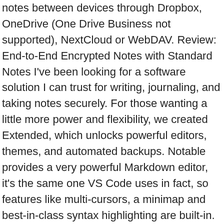notes between devices through Dropbox, OneDrive (One Drive Business not supported), NextCloud or WebDAV. Review: End-to-End Encrypted Notes with Standard Notes I've been looking for a software solution I can trust for writing, journaling, and taking notes securely. For those wanting a little more power and flexibility, we created Extended, which unlocks powerful editors, themes, and automated backups. Notable provides a very powerful Markdown editor, it's the same one VS Code uses in fact, so features like multi-cursors, a minimap and best-in-class syntax highlighting are built-in. 2013 Scott Joplin The Easy Winners (A Rag Time Two Step) 2013 Nat D Ayer If You Were the Only Girl in the World . Easy joplin vs standard notes reddit write notes wherever you are and syncing them with encryption to all your devices OneDrive ( Drive... Out our Markdown cheatsheet can do it easily on non fretted instruments, not. To all your devices macOS and Linux offline mode, all data is always available on device! Editors, themes, and not from advertisers or venture capitalists to save